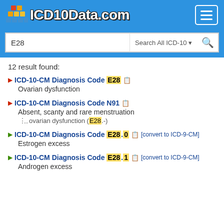[Figure (logo): ICD10Data.com logo with colorful block icon and site name on blue header background]
E28
Search All ICD-10 ▼
12 result found:
ICD-10-CM Diagnosis Code E28
Ovarian dysfunction
ICD-10-CM Diagnosis Code N91
Absent, scanty and rare menstruation
ovarian dysfunction (E28.-)
ICD-10-CM Diagnosis Code E28.0
[convert to ICD-9-CM]
Estrogen excess
ICD-10-CM Diagnosis Code E28.1
[convert to ICD-9-CM]
Androgen excess